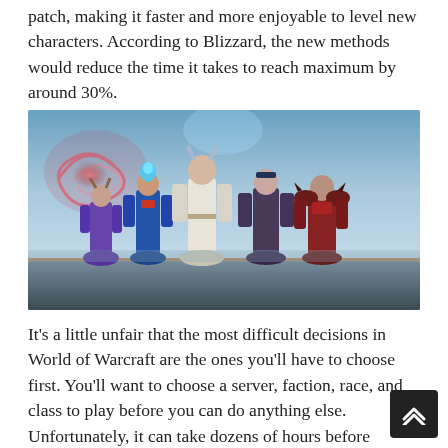patch, making it faster and more enjoyable to level new characters. According to Blizzard, the new methods would reduce the time it takes to reach maximum by around 30%.
[Figure (photo): World of Warcraft characters lineup: five game characters standing together against a blue swirling cosmic background. Characters include a purple-robed figure, a blue armored figure, a tall white-robed figure, a dark-robed figure, and an armored red and black figure.]
It's a little unfair that the most difficult decisions in World of Warcraft are the ones you'll have to choose first. You'll want to choose a server, faction, race, and class to play before you can do anything else. Unfortunately, it can take dozens of hours before